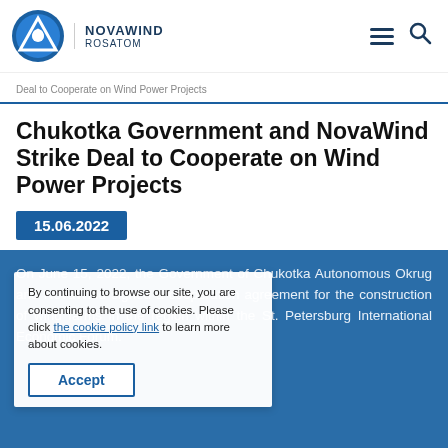NOVAWIND ROSATOM
Deal to Cooperate on Wind Power Projects
Chukotka Government and NovaWind Strike Deal to Cooperate on Wind Power Projects
15.06.2022
On June 15, 2022, the Government of Chukotka Autonomous Okrug and NovaWind signed a cooperation agreement for the construction of wind farms in the region within the St. Petersburg International Economic Forum.
By continuing to browse our site, you are consenting to the use of cookies. Please click the cookie policy link to learn more about cookies.